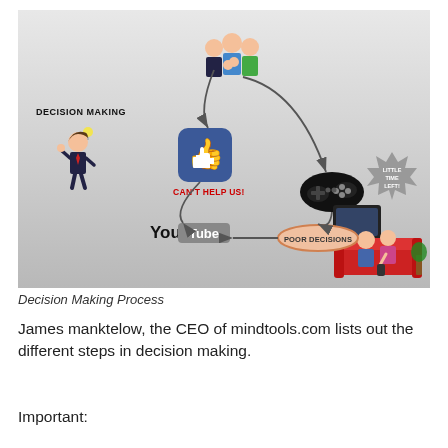[Figure (infographic): Decision Making Process infographic showing a cycle with: a businessman with lightbulb, a Facebook like button, a YouTube logo, a group of three people at the top, a game controller, a couple on a couch watching TV, a 'Little Time Left!' speech bubble, a 'Poor Decisions' bubble, and arrows connecting elements. Text reads 'DECISION MAKING' and 'CAN'T HELP US!' in red.]
Decision Making Process
James manktelow, the CEO of mindtools.com lists out the different steps in decision making.
Important: